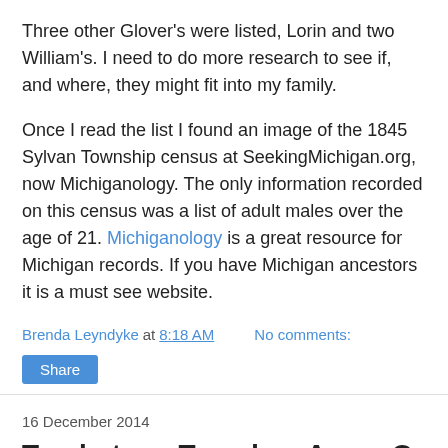Three other Glover's were listed, Lorin and two William's.  I need to do more research to see if, and where, they might fit into my family.
Once I read the list I found an image of the 1845 Sylvan Township census at SeekingMichigan.org, now Michiganology. The only information recorded on this census was a list of adult males over the age of 21. Michiganology is a great resource for Michigan records.  If you have Michigan ancestors it is a must see website.
Brenda Leyndyke at 8:18 AM   No comments:
Share
16 December 2014
Tombstone Tuesday: Amos C. Blodget